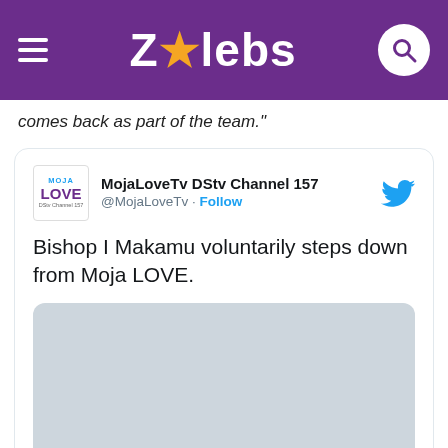ZAlebs
comes back as part of the team."
[Figure (screenshot): Embedded tweet from MojaLoveTv DStv Channel 157 (@MojaLoveTv) with Follow button and Twitter bird icon. Tweet text: 'Bishop I Makamu voluntarily steps down from Moja LOVE.' followed by a grey image placeholder.]